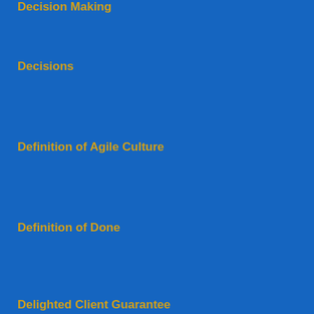Decision Making
Decisions
Definition of Agile Culture
Definition of Done
Delighted Client Guarantee
Delighted Client Guarantee™
Dell
Dell Alienware Aurora Ryzen Edition R14 Gaming Desktop
Deloitte
Delovanje